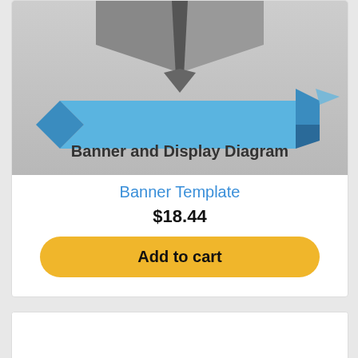[Figure (illustration): Banner and Display Diagram product thumbnail showing a grey background with a 3D folded shape at top, a blue ribbon banner across the middle, and bold text 'Banner and Display Diagram' at the bottom]
Banner Template
$18.44
Add to cart
[Figure (illustration): Road signs / symbols product thumbnail showing multiple circular metallic signs on poles with icons including No Horn, Museum, Airport, electric tower, taxi, tea/coffee, and Ambulance, with small flower and other symbols at the base]